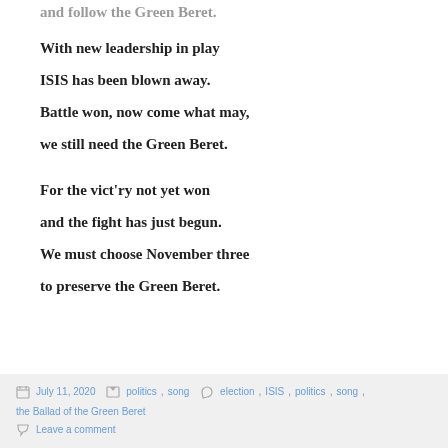and follow the Green Beret.
With new leadership in play
ISIS has been blown away.
Battle won, now come what may,
we still need the Green Beret.
For the vict'ry not yet won
and the fight has just begun.
We must choose November three
to preserve the Green Beret.
July 11, 2020  politics, song  election, ISIS, politics, song, the Ballad of the Green Beret  Leave a comment